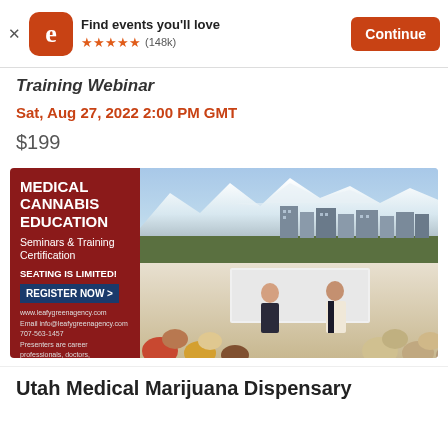Find events you'll love ★★★★★ (148k) Continue
Training Webinar
Sat, Aug 27, 2022 2:00 PM GMT
$199
[Figure (photo): Medical Cannabis Education seminar advertisement showing city skyline with mountains and indoor seminar with presenters. Left red panel: MEDICAL CANNABIS EDUCATION, Seminars & Training Certification, SEATING IS LIMITED!, REGISTER NOW >, contact info, LGA Leafy Green Agency logo.]
Utah Medical Marijuana Dispensary